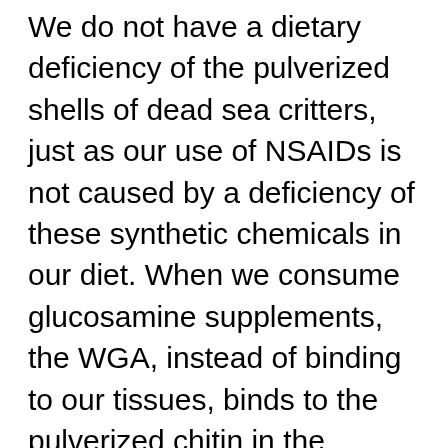We do not have a dietary deficiency of the pulverized shells of dead sea critters, just as our use of NSAIDs is not caused by a deficiency of these synthetic chemicals in our diet. When we consume glucosamine supplements, the WGA, instead of binding to our tissues, binds to the pulverized chitin in the glucosamine supplements, sparing us from the full impact of WGA. Many millions of Americans who have greatly reduced their pain and suffering by ingesting glucosamine and NSAIDs may be better served by removing wheat, the underlying cause of their malaise, from their diets. This would result in even